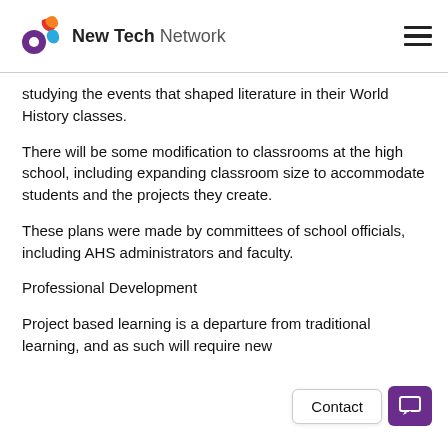New Tech Network
studying the events that shaped literature in their World History classes.
There will be some modification to classrooms at the high school, including expanding classroom size to accommodate students and the projects they create.
These plans were made by committees of school officials, including AHS administrators and faculty.
Professional Development
Project based learning is a departure from traditional learning, and as such will require new